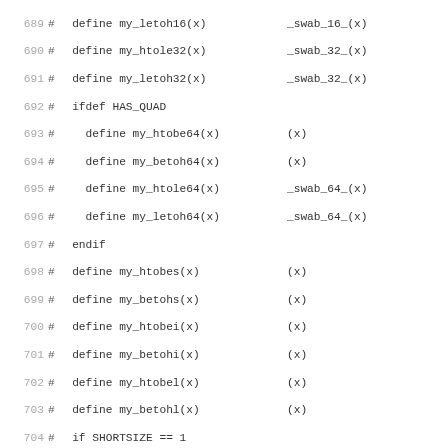Code listing lines 689-721, C preprocessor macros for byte-swap operations (my_htole, my_letoh, my_htobe, my_betoh variants for 16/32/64-bit and short/int/long sizes)